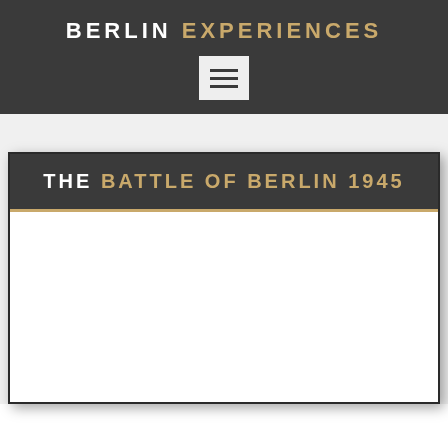BERLIN EXPERIENCES
[Figure (other): Hamburger menu button icon with three horizontal lines on a light grey background]
THE BATTLE OF BERLIN 1945